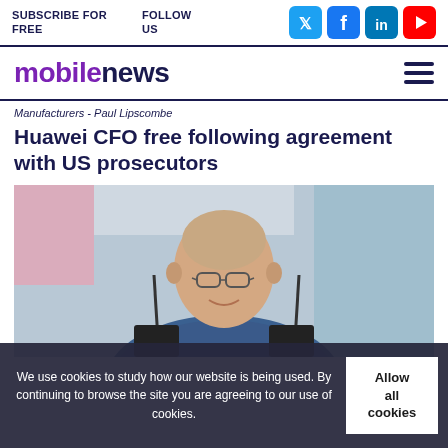SUBSCRIBE FOR FREE   FOLLOW US
mobilenews
Manufacturers - Paul Lipscombe
Huawei CFO free following agreement with US prosecutors
[Figure (photo): Man with glasses wearing a blue patterned shirt sitting at a desk with radio equipment in the background]
We use cookies to study how our website is being used. By continuing to browse the site you are agreeing to our use of cookies.